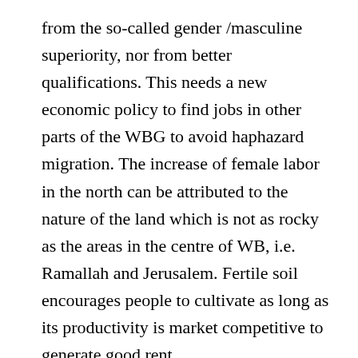from the so-called gender /masculine superiority, nor from better qualifications. This needs a new economic policy to find jobs in other parts of the WBG to avoid haphazard migration. The increase of female labor in the north can be attributed to the nature of the land which is not as rocky as the areas in the centre of WB, i.e. Ramallah and Jerusalem. Fertile soil encourages people to cultivate as long as its productivity is market competitive to generate good rent.